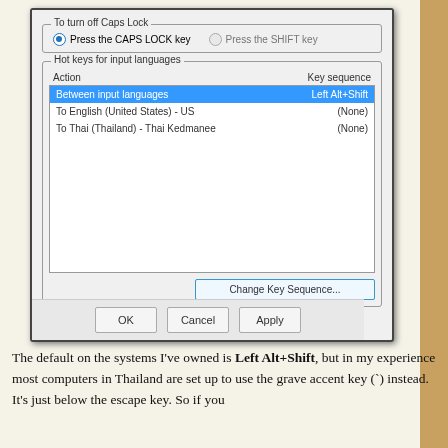[Figure (screenshot): Windows keyboard settings dialog showing 'To turn off Caps Lock' options with 'Press the CAPS LOCK key' selected, and 'Hot keys for input languages' section with a list showing 'Between input languages - Left Alt+Shift' (selected/highlighted), 'To English (United States) - US - (None)', 'To Thai (Thailand) - Thai Kedmanee - (None)', plus a 'Change Key Sequence...' button and OK/Cancel/Apply buttons at the bottom.]
The default on the systems I've owned is Left Alt+Shift, but in my experience most computers in Thailand are set up to use the grave accent key (`) instead. It's just below the escape key. So if you